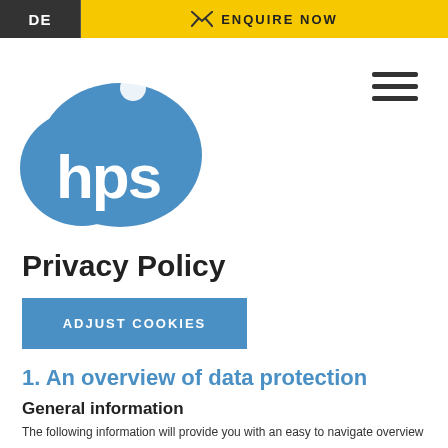DE   ENQUIRE NOW
[Figure (logo): HPS company logo — blue rounded shape with white bubbles and white letters 'hps']
Privacy Policy
ADJUST COOKIES
1. An overview of data protection
General information
The following information will provide you with an easy to navigate overview